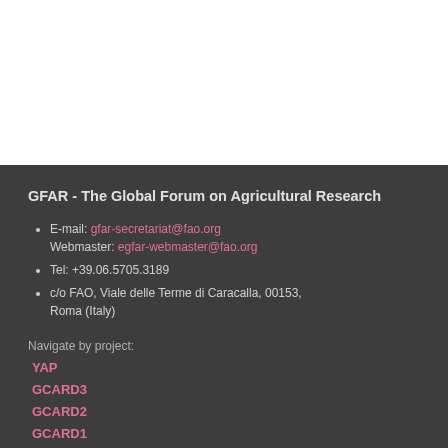GFAR - The Global Forum on Agricultural Research
E-mail: gfar-secretariat@fao.org
Webmaster: egfar-webmaster@fao.org
Tel: +39.06.5705.3189
c/o FAO, Viale delle Terme di Caracalla, 00153, Roma (Italy)
Navigate by project:
YAP
GCARD3
GCARD2
GCARD1